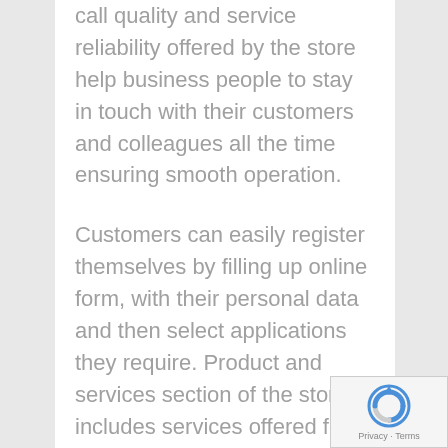call quality and service reliability offered by the store help business people to stay in touch with their customers and colleagues all the time ensuring smooth operation.
Customers can easily register themselves by filling up online form, with their personal data and then select applications they require. Product and services section of the store includes services offered for office, vFax, Connect and Sip trunking. Each service offered has its unique features; few features of Nixtiva Office include toll free or local phone number, voicemail facility